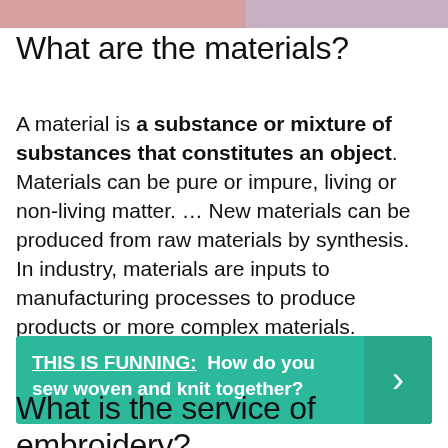[Figure (photo): Partial image strip at top of page showing people, partially cropped]
What are the materials?
A material is a substance or mixture of substances that constitutes an object. Materials can be pure or impure, living or non-living matter. ... New materials can be produced from raw materials by synthesis. In industry, materials are inputs to manufacturing processes to produce products or more complex materials.
THIS IS FUNNING:  How do you sew woven and knit together?
What is the service of embroidery?